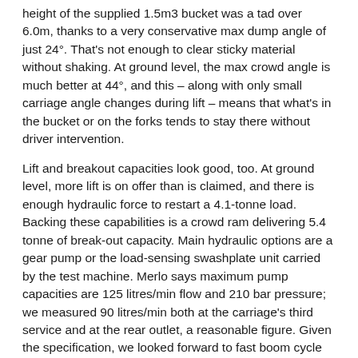height of the supplied 1.5m3 bucket was a tad over 6.0m, thanks to a very conservative max dump angle of just 24°. That's not enough to clear sticky material without shaking. At ground level, the max crowd angle is much better at 44°, and this – along with only small carriage angle changes during lift – means that what's in the bucket or on the forks tends to stay there without driver intervention.
Lift and breakout capacities look good, too. At ground level, more lift is on offer than is claimed, and there is enough hydraulic force to restart a 4.1-tonne load. Backing these capabilities is a crowd ram delivering 5.4 tonne of break-out capacity. Main hydraulic options are a gear pump or the load-sensing swashplate unit carried by the test machine. Merlo says maximum pump capacities are 125 litres/min flow and 210 bar pressure; we measured 90 litres/min both at the carriage's third service and at the rear outlet, a reasonable figure. Given the specification, we looked forward to fast boom cycle times but measured only average rates. Still (and probably more importantly for most TF operators), the machine's effective flow sharing system means that all boom functions are easy to mix and to modulate.